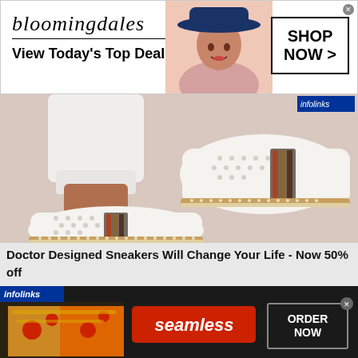[Figure (other): Bloomingdales advertisement banner with logo, tagline 'View Today's Top Deals!', model in hat, and SHOP NOW button]
[Figure (photo): Close-up photo of white slip-on sneakers with perforated design, striped accent, and cork-style sole, worn by a person in white jeans]
Doctor Designed Sneakers Will Change Your Life - Now 50% off
[Figure (other): Seamless food delivery advertisement banner with pizza photo, Seamless logo button, and ORDER NOW button, with infolinks badge]